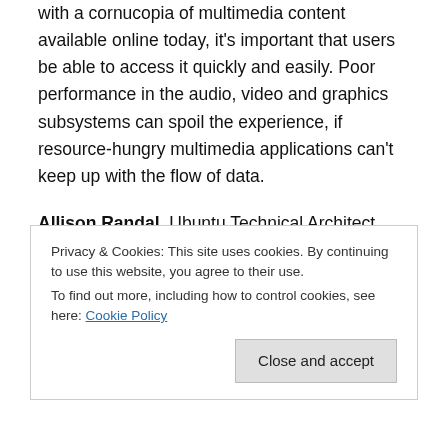with a cornucopia of multimedia content available online today, it's important that users be able to access it quickly and easily. Poor performance in the audio, video and graphics subsystems can spoil the experience, if resource-hungry multimedia applications can't keep up with the flow of data.
Allison Randal, Ubuntu Technical Architect, answers with an analysis of the problem and the proposed solutions, an overview of current activity in this area, and pointers for getting involved.
Privacy & Cookies: This site uses cookies. By continuing to use this website, you agree to their use. To find out more, including how to control cookies, see here: Cookie Policy